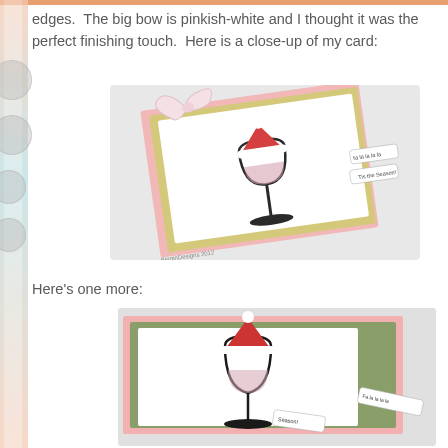edges.  The big bow is pinkish-white and I thought it was the perfect finishing touch.  Here is a close-up of my card:
[Figure (photo): Close-up photo of a handmade greeting card with a stamped wine glass image wearing a Santa hat, layered on pink and green patterned paper with a big pinkish-white bow. Watermark reads BerginDesigns 2012.]
Here's one more:
[Figure (photo): Another close-up photo of the same style handmade greeting card showing the wine glass with Santa hat stamp, pink and green layers, with a tag reading 'Fa la la la la' and 'Season!']